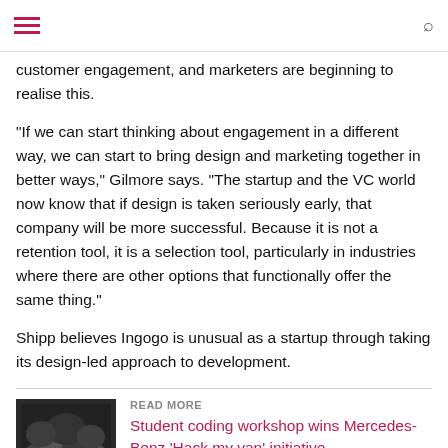Navigation header with hamburger menu and search icon
customer engagement, and marketers are beginning to realise this.
“If we can start thinking about engagement in a different way, we can start to bring design and marketing together in better ways,” Gilmore says. “The startup and the VC world now know that if design is taken seriously early, that company will be more successful. Because it is not a retention tool, it is a selection tool, particularly in industries where there are other options that functionally offer the same thing.”
Shipp believes Ingogo is unusual as a startup through taking its design-led approach to development.
READ MORE
Student coding workshop wins Mercedes-Benz ‘Hack my van’ initiative
[Figure (photo): Thumbnail image of students at coding workshop]
[Figure (infographic): State of CX Leadership 2022 advertisement banner by Optimizely with survey call to action]
“We are